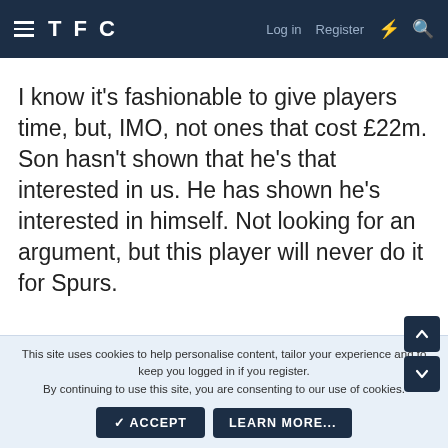TFC  Log in  Register
I know it's fashionable to give players time, but, IMO, not ones that cost £22m. Son hasn't shown that he's that interested in us. He has shown he's interested in himself. Not looking for an argument, but this player will never do it for Spurs.
😄 1  × 1
Joe Clash 🏆🏆🏆🏆🏆
This site uses cookies to help personalise content, tailor your experience and to keep you logged in if you register. By continuing to use this site, you are consenting to our use of cookies.
✓ ACCEPT  LEARN MORE...